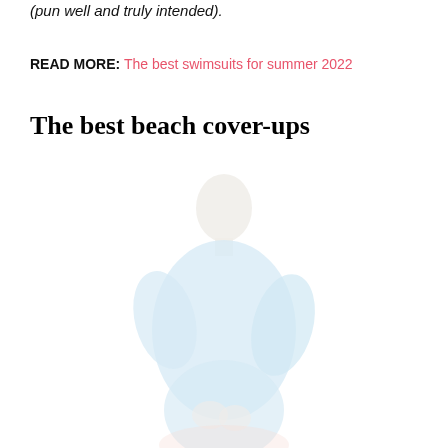(pun well and truly intended).
READ MORE: The best swimsuits for summer 2022
The best beach cover-ups
[Figure (photo): A woman with a shaved head wearing a light blue beach cover-up, shown from the waist up, smiling, against a white background. The image is very faded/light.]